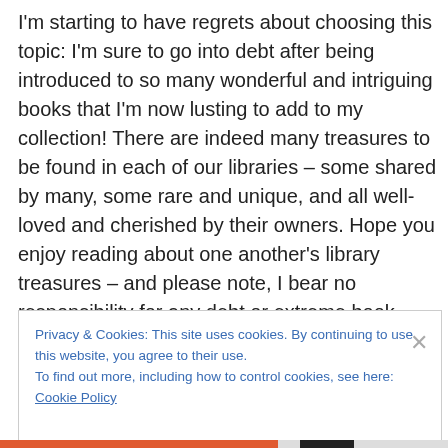I'm starting to have regrets about choosing this topic: I'm sure to go into debt after being introduced to so many wonderful and intriguing books that I'm now lusting to add to my collection! There are indeed many treasures to be found in each of our libraries – some shared by many, some rare and unique, and all well-loved and cherished by their owners. Hope you enjoy reading about one another's library treasures – and please note, I bear no responsibility for any debt or extreme book lusting caused by the reading of these posts 🙂
Privacy & Cookies: This site uses cookies. By continuing to use this website, you agree to their use.
To find out more, including how to control cookies, see here: Cookie Policy